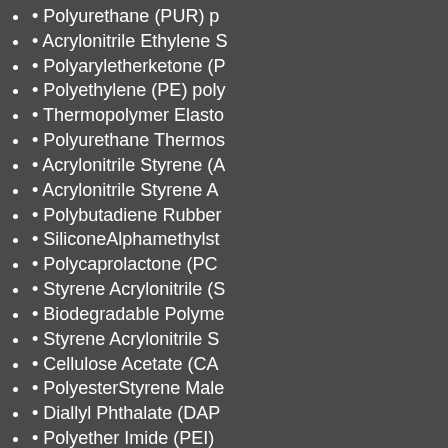• Polyurethane (PUR) p…
• Acrylonitrile Ethylene S…
• Polyaryletherketone (P…
• Polyethylene (PE) poly…
• Thermopolymer Elasto…
• Polyurethane Thermos…
• Acrylonitrile Styrene (A…
• Acrylonitrile Styrene A…
• Polybutadiene Rubber…
• SiliconeAlphamethylst…
• Polycaprolactone (PC…
• Styrene Acrylonitrile (S…
• Biodegradable Polyme…
• Styrene Acrylonitrile S…
• Cellulose Acetate (CA…
• PolyesterStyrene Male…
• Diallyl Phthalate (DAP…
• Polyether Imide (PEI)…